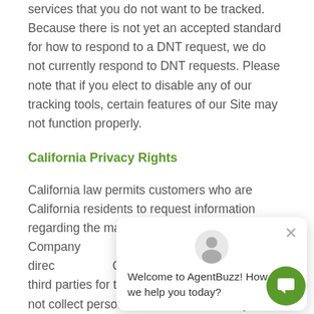services that you do not want to be tracked. Because there is not yet an accepted standard for how to respond to a DNT request, we do not currently respond to DNT requests. Please note that if you elect to disable any of our tracking tools, certain features of our Site may not function properly.
California Privacy Rights
California law permits customers who are California residents to request information regarding the manner in which the Company [obscured] third parties to use for direct [obscured] Company does not sha[re with] third parties for this purpose[.] Company does not collect personal information from anyone under 13 years of age are in compliance [with] the requirements of COPPA (Childrens Online Priv[acy] Protection Act). The Company's Site, products and
[Figure (screenshot): AgentBuzz chat popup widget with avatar icon, close button (×), and message 'Welcome to AgentBuzz! How can we help you today?' with green circular chat button in bottom right]